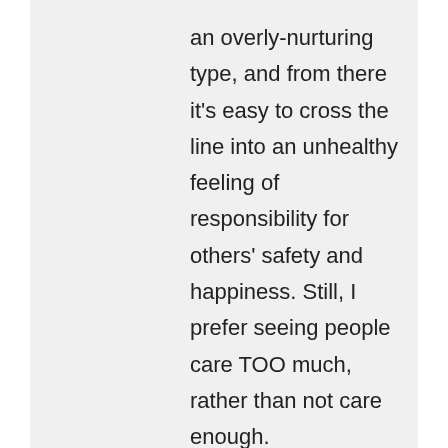an overly-nurturing type, and from there it's easy to cross the line into an unhealthy feeling of responsibility for others' safety and happiness. Still, I prefer seeing people care TOO much, rather than not care enough.
↳ Reply
Boomdeeadda on June 10, 2015 at 9:54 am
!! OMgosh, snaggled up in tree's? Rolling out of the bush? I'm holding in a roar (I'm relieved you